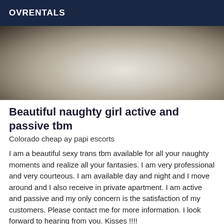OVRENTALS
[Figure (photo): Cropped photo showing torso of a person wearing a white top/outfit, close-up body shot]
Beautiful naughty girl active and passive tbm
Colorado cheap ay papi escorts
I am a beautiful sexy trans tbm available for all your naughty moments and realize all your fantasies. I am very professional and very courteous. I am available day and night and I move around and I also receive in private apartment. I am active and passive and my only concern is the satisfaction of my customers. Please contact me for more information. I look forward to hearing from you. Kisses !!!!